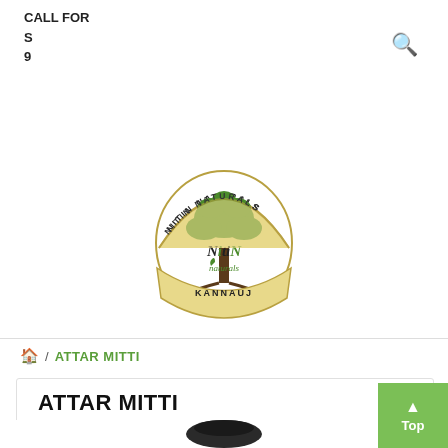CALL FOR
S...
9...
[Figure (logo): Nitin Naturals Kannauj circular logo with tree illustration]
🏠 / ATTAR MITTI
ATTAR MITTI
[Figure (photo): Dark colored product jar, partially visible at bottom of page]